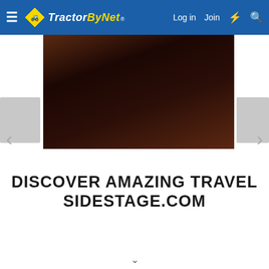TractorByNet — Log in  Join
[Figure (photo): Dark reddish-brown background image, possibly a cave or wooden surface, partially visible in a slider carousel]
DISCOVER AMAZING TRAVEL SIDESTAGE.COM